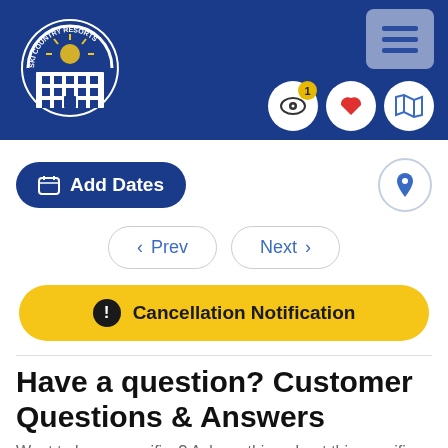[Figure (logo): Ski Country Resorts logo with building and mountain arc]
[Figure (infographic): Header navigation icons: hamburger menu, eye icon with badge '1', heart icon, map icon]
[Figure (infographic): Add Dates button and location pin circle button row]
[Figure (infographic): Prev and Next navigation buttons]
[Figure (infographic): Cancellation Notification yellow button]
Have a question? Customer Questions & Answers
Want to know specifics? Ask anything about this specific property that you would like to know